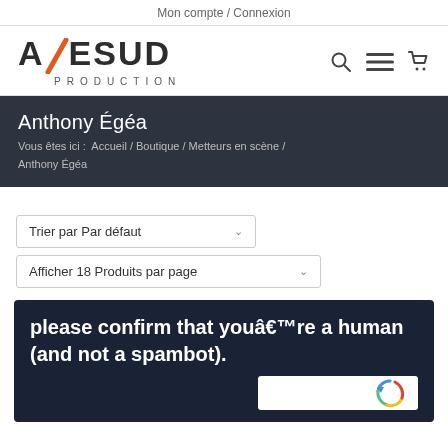Mon compte / Connexion
[Figure (logo): AXESUD PRODUCTION logo with orange diagonal slash through the X]
Anthony Égéa
Vous êtes ici :  Accueil / Boutique / Metteurs en scène / Anthony Égéa
Trier par Par défaut
Afficher 18 Produits par page
please confirm that youâ€™re a human (and not a spambot).
[Figure (screenshot): reCAPTCHA widget partial view]